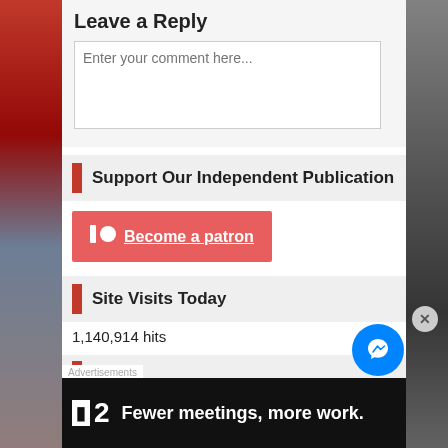Leave a Reply
Enter your comment here...
Support Our Independent Publication
[Figure (other): Patreon button: logo circle with circle, text 'Become a patron' underlined, red/pink background]
Site Visits Today
1,140,914 hits
Advertisements
[Figure (other): Advertisement banner: black background, P2 logo, text 'Fewer meetings, more work.']
[Figure (other): Facebook Messenger chat button (blue circle with lightning bolt icon)]